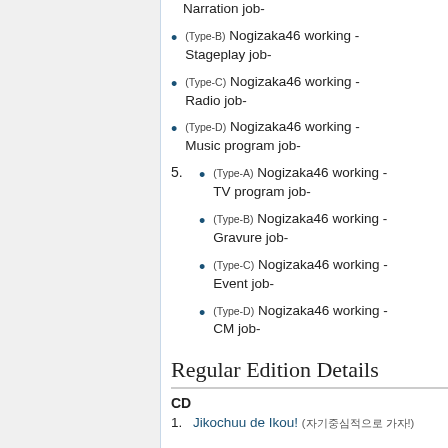Narration job-
(Type-B) Nogizaka46 working - Stageplay job-
(Type-C) Nogizaka46 working - Radio job-
(Type-D) Nogizaka46 working - Music program job-
5. (Type-A) Nogizaka46 working - TV program job-
(Type-B) Nogizaka46 working - Gravure job-
(Type-C) Nogizaka46 working - Event job-
(Type-D) Nogizaka46 working - CM job-
Regular Edition Details
CD
1. Jikochuu de Ikou! (자기중심적으로 가자!)